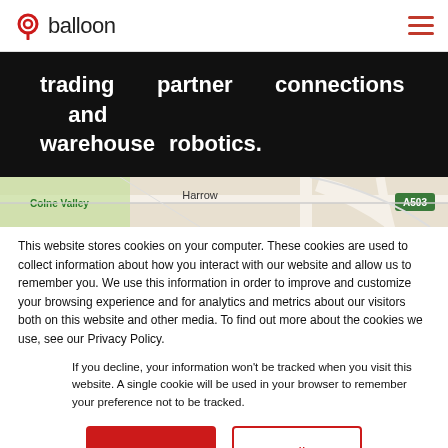balloon
trading partner connections and warehouse robotics.
[Figure (map): Street map showing Harrow, Colne Valley, and road A503]
This website stores cookies on your computer. These cookies are used to collect information about how you interact with our website and allow us to remember you. We use this information in order to improve and customize your browsing experience and for analytics and metrics about our visitors both on this website and other media. To find out more about the cookies we use, see our Privacy Policy.
If you decline, your information won't be tracked when you visit this website. A single cookie will be used in your browser to remember your preference not to be tracked.
Accept   Decline